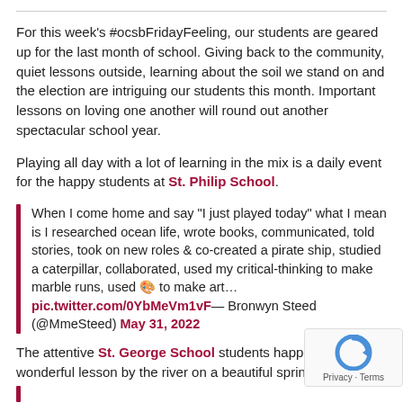For this week's #ocsbFridayFeeling, our students are geared up for the last month of school. Giving back to the community, quiet lessons outside, learning about the soil we stand on and the election are intriguing our students this month. Important lessons on loving one another will round out another spectacular school year.
Playing all day with a lot of learning in the mix is a daily event for the happy students at St. Philip School.
When I come home and say "I just played today" what I mean is I researched ocean life, wrote books, communicated, told stories, took on new roles & co-created a pirate ship, studied a caterpillar, collaborated, used my critical-thinking to make marble runs, used 🎨 to make art… pic.twitter.com/0YbMeVm1vF— Bronwyn Steed (@MmeSteed) May 31, 2022
The attentive St. George School students happened upon a wonderful lesson by the river on a beautiful spring day this